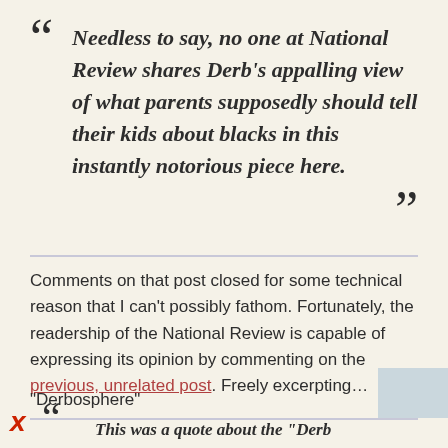“Needless to say, no one at National Review shares Derb’s appalling view of what parents supposedly should tell their kids about blacks in this instantly notorious piece here.”
Comments on that post closed for some technical reason that I can’t possibly fathom. Fortunately, the readership of the National Review is capable of expressing its opinion by commenting on the previous, unrelated post. Freely excerpting…
“Derbosphere”
This was a quote about the “Derb” issue...